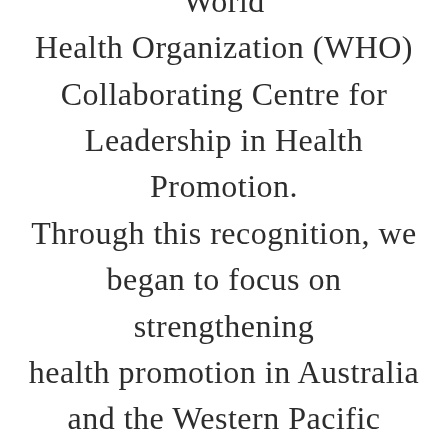was designated as a new World Health Organization (WHO) Collaborating Centre for Leadership in Health Promotion. Through this recognition, we began to focus on strengthening health promotion in Australia and the Western Pacific Region, which is home to 1.8 billion people.